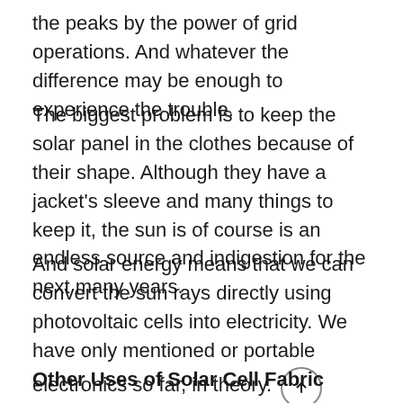the peaks by the power of grid operations. And whatever the difference may be enough to experience the trouble.
The biggest problem is to keep the solar panel in the clothes because of their shape. Although they have a jacket's sleeve and many things to keep it, the sun is of course is an endless source and indigestion for the next many years.
And solar energy means that we can convert the sun rays directly using photovoltaic cells into electricity. We have only mentioned or portable electronics so far, in theory.
Other Uses of Solar Cell Fabric